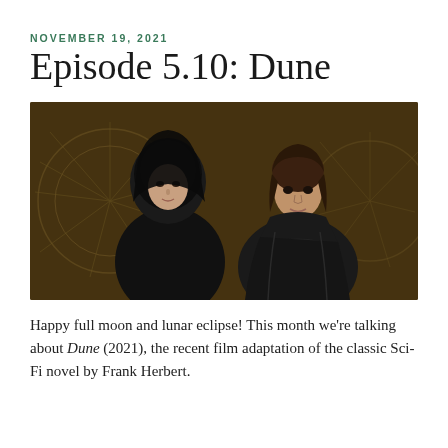NOVEMBER 19, 2021
Episode 5.10: Dune
[Figure (photo): Promotional photo from the Dune (2021) film showing two characters in dark hooded outfits against an ornate golden/bronze decorative background. A woman in a black lace hood on the left and a young man in a dark cloak on the right.]
Happy full moon and lunar eclipse! This month we're talking about Dune (2021), the recent film adaptation of the classic Sci-Fi novel by Frank Herbert.